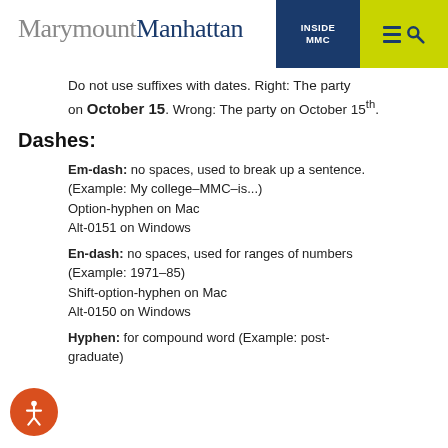MarymountManhattan | INSIDE MMC
Do not use suffixes with dates. Right: The party on October 15. Wrong: The party on October 15th.
Dashes:
Em-dash: no spaces, used to break up a sentence. (Example: My college–MMC–is...) Option-hyphen on Mac Alt-0151 on Windows
En-dash: no spaces, used for ranges of numbers (Example: 1971–85) Shift-option-hyphen on Mac Alt-0150 on Windows
Hyphen: for compound word (Example: post-graduate)